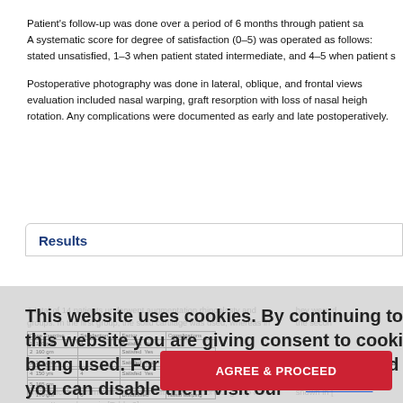Patient's follow-up was done over a period of 6 months through patient satisfaction. A systematic score for degree of satisfaction (0–5) was operated as follows: stated unsatisfied, 1–3 when patient stated intermediate, and 4–5 when patient s
Postoperative photography was done in lateral, oblique, and frontal views. evaluation included nasal warping, graft resorption with loss of nasal height, rotation. Any complications were documented as early and late postoperatively.
Results
A total of 14 patients underwent augmentation rhinoplasty and they were divided into two groups. In the first group, the solid cartilage was used, whereas in the second
The clinical outcome and patients satisfaction score of group I are shown in [Table 1] and group II are shown in [Table 2].
Table 1: Clinical outcome of group I in terms of complication and complications
Click here to view